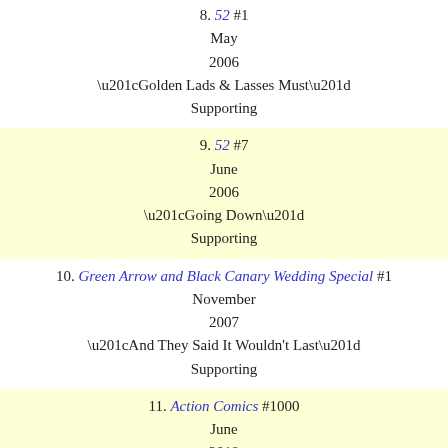8. 52 #1
May
2006
“Golden Lads & Lasses Must”
Supporting
9. 52 #7
June
2006
“Going Down”
Supporting
10. Green Arrow and Black Canary Wedding Special #1
November
2007
“And They Said It Wouldn't Last”
Supporting
11. Action Comics #1000
June
2018
“From the City That Has Everything”
Supporting